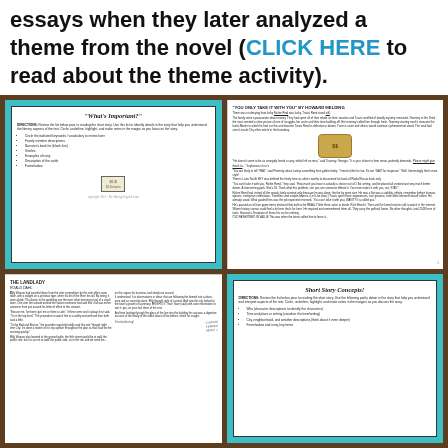essays when they later analyzed a theme from the novel (CLICK HERE to read about the theme activity).
[Figure (photo): Photo of four document pages laid out on a wooden surface. Top-left: teal-bordered 'What's Important?' worksheet with bullet list and an image of coins/money at the bottom. Top-right: white paper with story text 'You Only Take It With You' by Howard Melding, with margin annotations and a money bag image. Bottom-left: white paper with 'The Landlady' by Roald Dahl story text with margin annotations. Bottom-right: teal-bordered 'Short Story Concepts' worksheet with bullet list of elements.]